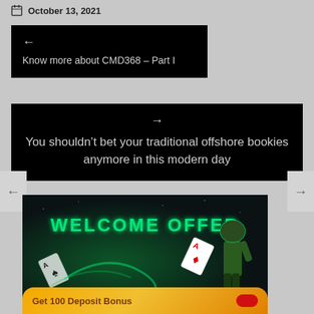October 13, 2021
← Know more about CMD368 – Part I
→ You shouldn't bet your traditional offshore bookies anymore in this modern day
[Figure (photo): Welcome Offer banner with green glowing text 'WELCOME OFFER', playing cards, cricket player, and gold promotional bar at bottom reading 'Get 100 Deposit Bonus']